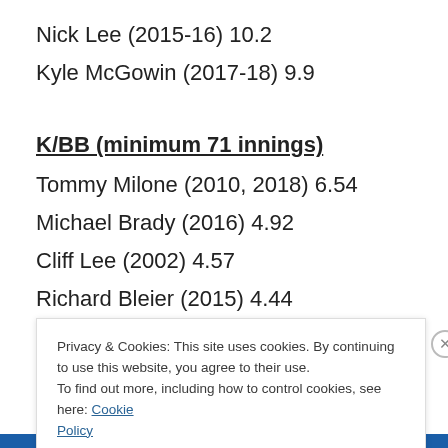Nick Lee (2015-16) 10.2
Kyle McGowin (2017-18) 9.9
K/BB (minimum 71 innings)
Tommy Milone (2010, 2018) 6.54
Michael Brady (2016) 4.92
Cliff Lee (2002) 4.57
Richard Bleier (2015) 4.44
Privacy & Cookies: This site uses cookies. By continuing to use this website, you agree to their use.
To find out more, including how to control cookies, see here: Cookie Policy
Close and accept